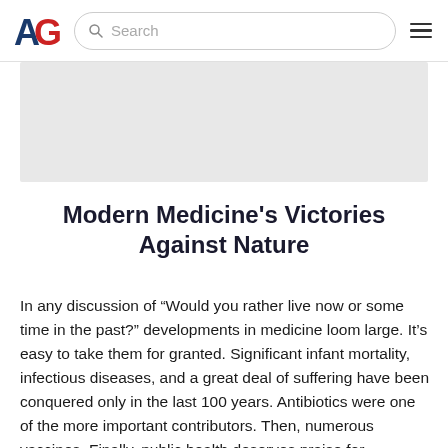AG [logo] Search [hamburger menu]
[Figure (other): Gray banner/advertisement area placeholder]
Modern Medicine's Victories Against Nature
In any discussion of “Would you rather live now or some time in the past?” developments in medicine loom large. It’s easy to take them for granted. Significant infant mortality, infectious diseases, and a great deal of suffering have been conquered only in the last 100 years. Antibiotics were one of the more important contributors. Then, numerous vaccines. Finally, public health deserves praise for restaurant and food inspections, sanitation